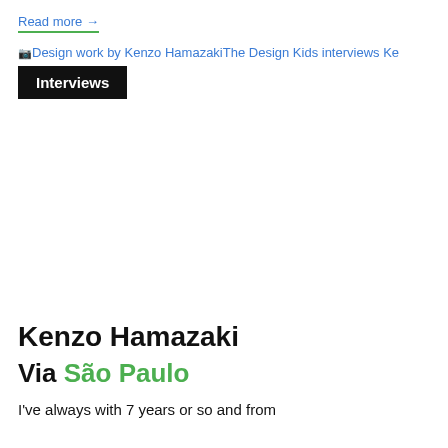Read more →
[Figure (other): Broken image placeholder: Design work by Kenzo Hamazaki - The Design Kids interviews Kenzo Hamazaki]
Interviews
Kenzo Hamazaki
Via São Paulo
I've always with 7 years or so and from